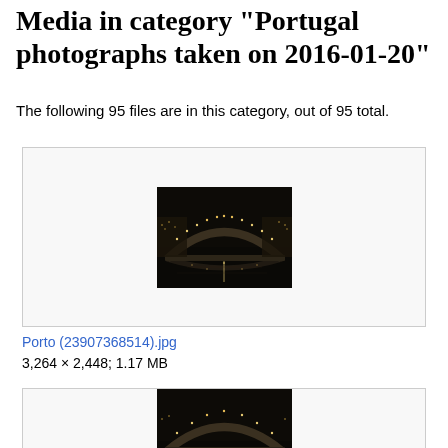Media in category "Portugal photographs taken on 2016-01-20"
The following 95 files are in this category, out of 95 total.
[Figure (photo): Night photograph of an arched bridge illuminated with lights reflected in water below, Porto, Portugal]
Porto (23907368514).jpg
3,264 × 2,448; 1.17 MB
[Figure (photo): Second night photograph of an arched bridge illuminated with lights reflected in water below, Porto, Portugal (partially visible)]